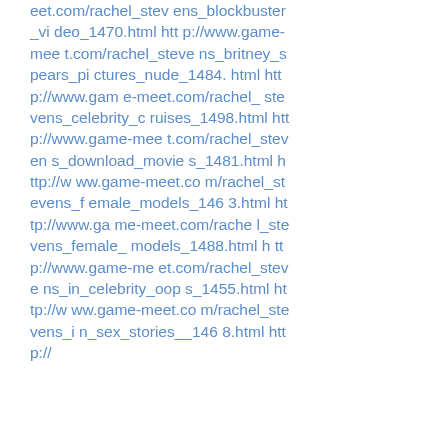eet.com/rachel_stevens_blockbuster_video_1470.html http://www.game-meet.com/rachel_stevens_britney_spears_pictures_nude_1484.html http://www.game-meet.com/rachel_stevens_celebrity_cruises_1498.html http://www.game-meet.com/rachel_stevens_download_movies_1481.html http://www.game-meet.com/rachel_stevens_female_models_1463.html http://www.game-meet.com/rachel_stevens_female_models_1488.html http://www.game-meet.com/rachel_stevens_in_celebrity_oops_1455.html http://www.game-meet.com/rachel_stevens_in_sex_stories__1468.html http://